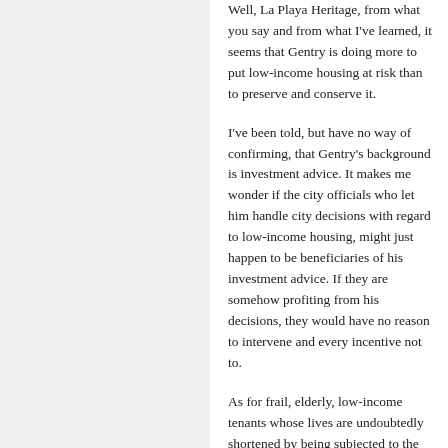Well, La Playa Heritage, from what you say and from what I've learned, it seems that Gentry is doing more to put low-income housing at risk than to preserve and conserve it.
I've been told, but have no way of confirming, that Gentry's background is investment advice. It makes me wonder if the city officials who let him handle city decisions with regard to low-income housing, might just happen to be beneficiaries of his investment advice. If they are somehow profiting from his decisions, they would have no reason to intervene and every incentive not to.
As for frail, elderly, low-income tenants whose lives are undoubtedly shortened by being subjected to the extreme stress of living in a building during a year of major renovations and then being